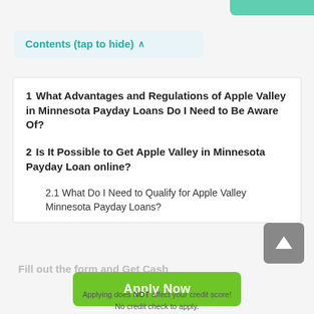Contents (tap to hide) ^
1  What Advantages and Regulations of Apple Valley in Minnesota Payday Loans Do I Need to Be Aware Of?
2  Is It Possible to Get Apple Valley in Minnesota Payday Loan online?
2.1  What Do I Need to Qualify for Apple Valley Minnesota Payday Loans?
Fill out the form and Get Cash
Apply Now
Applying does NOT affect your credit score! No credit check to apply.